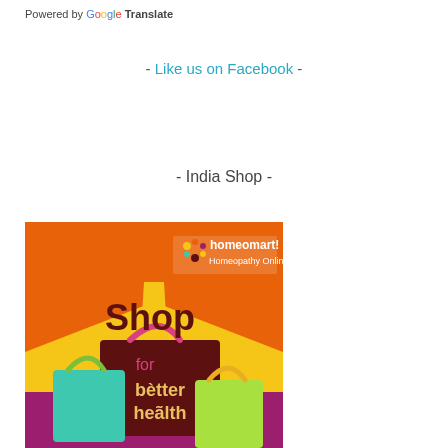Powered by Google Translate
- Like us on Facebook -
- India Shop -
[Figure (illustration): Homeomart Homeopathy Online advertisement banner showing shopping bags with text 'Shop for better health' on an orange/yellow/purple background]